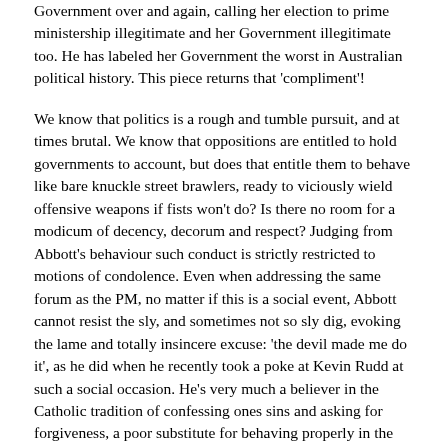Government over and again, calling her election to prime ministership illegitimate and her Government illegitimate too. He has labeled her Government the worst in Australian political history. This piece returns that 'compliment'!
We know that politics is a rough and tumble pursuit, and at times brutal. We know that oppositions are entitled to hold governments to account, but does that entitle them to behave like bare knuckle street brawlers, ready to viciously wield offensive weapons if fists won't do? Is there no room for a modicum of decency, decorum and respect? Judging from Abbott's behaviour such conduct is strictly restricted to motions of condolence. Even when addressing the same forum as the PM, no matter if this is a social event, Abbott cannot resist the sly, and sometimes not so sly dig, evoking the lame and totally insincere excuse: 'the devil made me do it', as he did when he recently took a poke at Kevin Rudd at such a social occasion. He's very much a believer in the Catholic tradition of confessing ones sins and asking for forgiveness, a poor substitute for behaving properly in the first place.
My condemnation of Abbott comes in several categories: